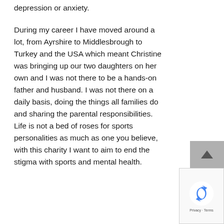depression or anxiety.
During my career I have moved around a lot, from Ayrshire to Middlesbrough to Turkey and the USA which meant Christine was bringing up our two daughters on her own and I was not there to be a hands-on father and husband. I was not there on a daily basis, doing the things all families do and sharing the parental responsibilities. Life is not a bed of roses for sports personalities as much as one you believe, with this charity I want to aim to end the stigma with sports and mental health.